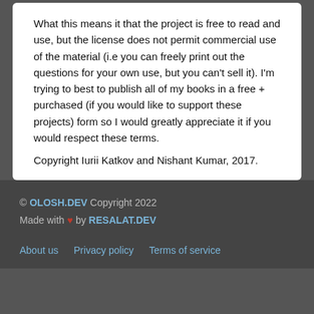What this means it that the project is free to read and use, but the license does not permit commercial use of the material (i.e you can freely print out the questions for your own use, but you can't sell it). I'm trying to best to publish all of my books in a free + purchased (if you would like to support these projects) form so I would greatly appreciate it if you would respect these terms.
Copyright Iurii Katkov and Nishant Kumar, 2017.
© OLOSH.DEV Copyright 2022
Made with ♥ by RESALAT.DEV
About us  Privacy policy  Terms of service